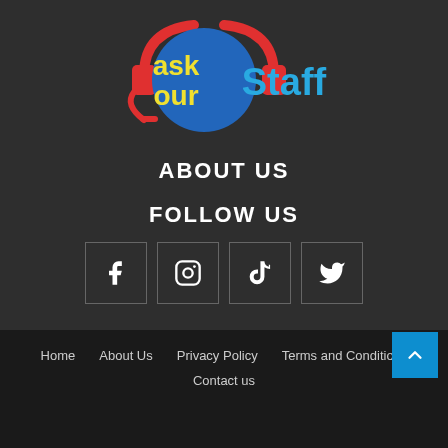[Figure (logo): Ask Our Staff logo with headset icon and colorful text]
ABOUT US
FOLLOW US
[Figure (infographic): Four social media icon boxes: Facebook, Instagram, TikTok, Twitter]
Home   About Us   Privacy Policy   Terms and Conditions   Contact us